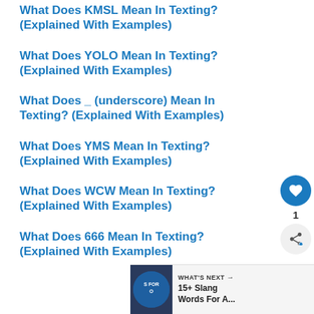What Does KMSL Mean In Texting? (Explained With Examples)
What Does YOLO Mean In Texting? (Explained With Examples)
What Does _ (underscore) Mean In Texting? (Explained With Examples)
What Does YMS Mean In Texting? (Explained With Examples)
What Does WCW Mean In Texting? (Explained With Examples)
What Does 666 Mean In Texting? (Explained With Examples)
[Figure (infographic): WHAT'S NEXT banner with circular image and text: 15+ Slang Words For A...]